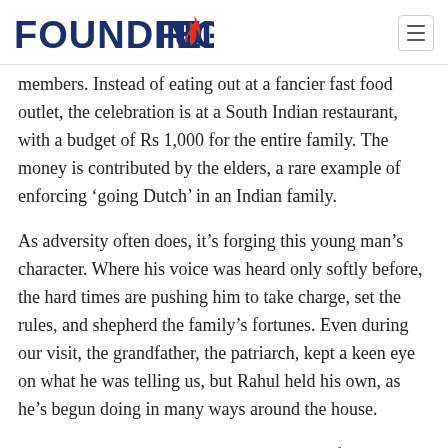FOUNDING FUEL
members. Instead of eating out at a fancier fast food outlet, the celebration is at a South Indian restaurant, with a budget of Rs 1,000 for the entire family. The money is contributed by the elders, a rare example of enforcing ‘going Dutch’ in an Indian family.
As adversity often does, it’s forging this young man’s character. Where his voice was heard only softly before, the hard times are pushing him to take charge, set the rules, and shepherd the family’s fortunes. Even during our visit, the grandfather, the patriarch, kept a keen eye on what he was telling us, but Rahul held his own, as he’s begun doing in many ways around the house.
For one, he noticed that many people in the family ate their meals at different times. And each time, the food was reheated. He made sure that everyone made it a point to shift things